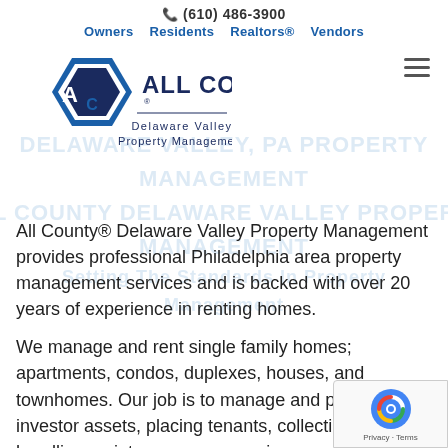(610) 486-3900 | Owners  Residents  Realtors®  Vendors
[Figure (logo): All County Delaware Valley Property Management logo — hexagonal AC icon in blue and dark navy, with 'ALL COUNTY®' in bold navy and 'Delaware Valley Property Management' below in smaller text]
All County® Delaware Valley Property Management provides professional Philadelphia area property management services and is backed with over 20 years of experience in renting homes.
We manage and rent single family homes; apartments, condos, duplexes, houses, and townhomes. Our job is to manage and protect investor assets, placing tenants, collecting rents, handling maintenance, overseeing every aspect of the property.